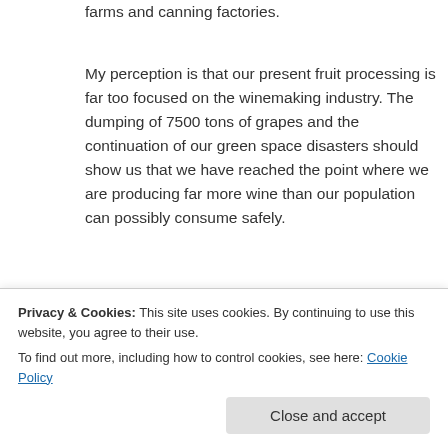farms and canning factories.
My perception is that our present fruit processing is far too focused on the winemaking industry. The dumping of 7500 tons of grapes and the continuation of our green space disasters should show us that we have reached the point where we are producing far more wine than our population can possibly consume safely.
In my view, if the expectation is not met for balancing our regional fruit processing
stockpile a future pay increase for Mr P's to be
Privacy & Cookies: This site uses cookies. By continuing to use this website, you agree to their use.
To find out more, including how to control cookies, see here: Cookie Policy